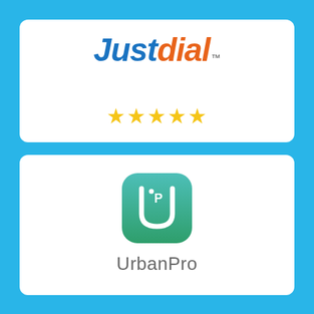[Figure (logo): Justdial logo in blue and orange italic bold text with TM mark, followed by 5 gold stars below]
[Figure (logo): UrbanPro logo: rounded square icon with teal-to-green gradient containing a white U-shape with a small P letter, and UrbanPro text in gray below]